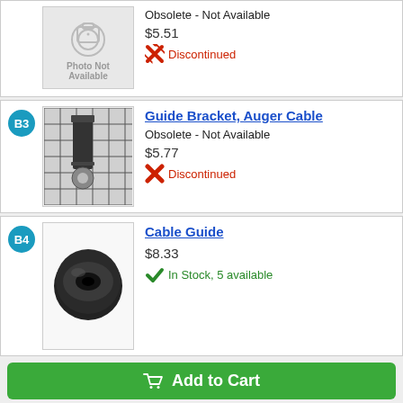[Figure (photo): Photo Not Available placeholder image with camera icon]
Obsolete - Not Available
$5.51
Discontinued
Guide Bracket, Auger Cable
[Figure (photo): Guide Bracket Auger Cable part shown on grid background]
Obsolete - Not Available
$5.77
Discontinued
Cable Guide
[Figure (photo): Cable Guide part - black circular rubber grommet]
$8.33
In Stock, 5 available
Add to Cart